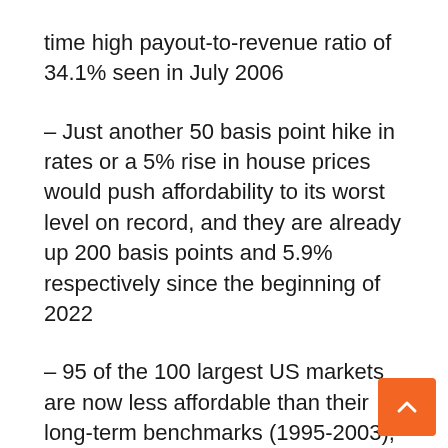time high payout-to-revenue ratio of 34.1% seen in July 2006
– Just another 50 basis point hike in rates or a 5% rise in house prices would push affordability to its worst level on record, and they are already up 200 basis points and 5.9% respectively since the beginning of 2022
– 95 of the 100 largest US markets are now less affordable than their long-term benchmarks (1995-2003), compared to six markets at the start of the pandemic
– Thirty-seven markets – representing almost a third of the country – are now the least afforda